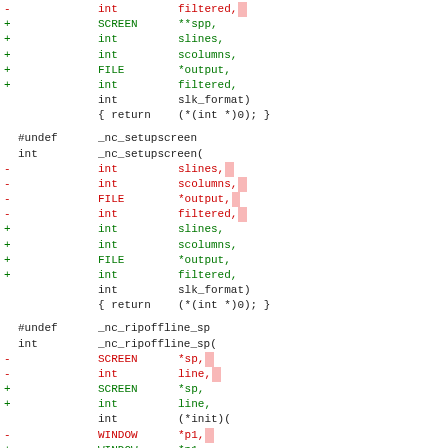[Figure (screenshot): Code diff showing function signature changes for slk_format, _nc_setupscreen, and _nc_ripoffline_sp in a C source file. Removed lines shown in red with pink highlight markers, added lines shown in green, neutral lines in dark/black.]